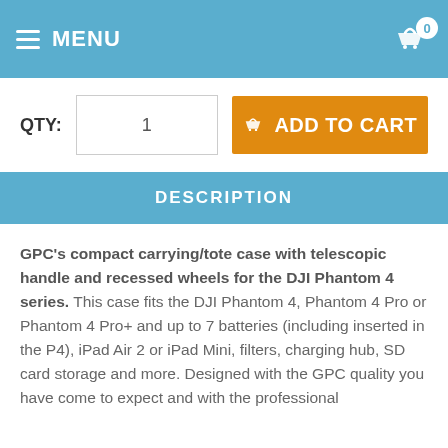MENU | Cart 0
QTY: 1  ADD TO CART
DESCRIPTION
GPC's compact carrying/tote case with telescopic handle and recessed wheels for the DJI Phantom 4 series. This case fits the DJI Phantom 4, Phantom 4 Pro or Phantom 4 Pro+ and up to 7 batteries (including inserted in the P4), iPad Air 2 or iPad Mini, filters, charging hub, SD card storage and more. Designed with the GPC quality you have come to expect and with the professional